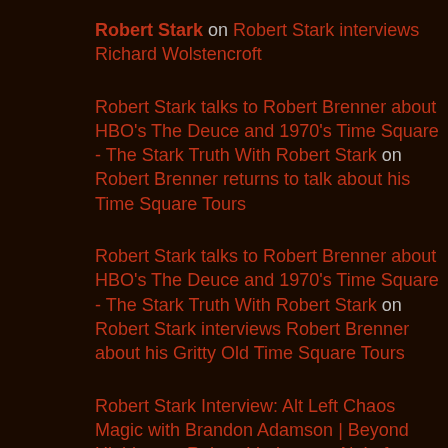Robert Stark on Robert Stark interviews Richard Wolstencroft
Robert Stark talks to Robert Brenner about HBO's The Deuce and 1970's Time Square - The Stark Truth With Robert Stark on Robert Brenner returns to talk about his Time Square Tours
Robert Stark talks to Robert Brenner about HBO's The Deuce and 1970's Time Square - The Stark Truth With Robert Stark on Robert Stark interviews Robert Brenner about his Gritty Old Time Square Tours
Robert Stark Interview: Alt Left Chaos Magic with Brandon Adamson | Beyond Highbrow - Robert Lindsay on Alt Left Chaos Magic With Brandon Adamson